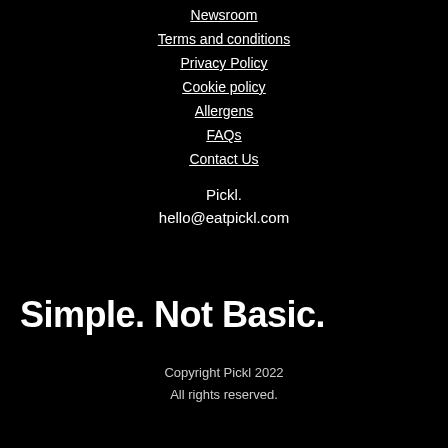Newsroom
Terms and conditions
Privacy Policy
Cookie policy
Allergens
FAQs
Contact Us
Pickl.
hello@eatpickl.com
Simple. Not Basic.
Copyright Pickl 2022
All rights reserved.